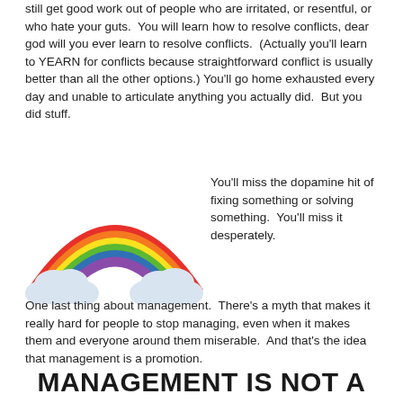still get good work out of people who are irritated, or resentful, or who hate your guts.  You will learn how to resolve conflicts, dear god will you ever learn to resolve conflicts.  (Actually you'll learn to YEARN for conflicts because straightforward conflict is usually better than all the other options.) You'll go home exhausted every day and unable to articulate anything you actually did.  But you did stuff.
[Figure (illustration): Cartoon rainbow with colorful arcs (purple, blue, green, yellow, orange, red) and two white fluffy clouds at the base on either side]
You'll miss the dopamine hit of fixing something or solving something.  You'll miss it desperately.
One last thing about management.  There's a myth that makes it really hard for people to stop managing, even when it makes them and everyone around them miserable.  And that's the idea that management is a promotion.
MANAGEMENT IS NOT A